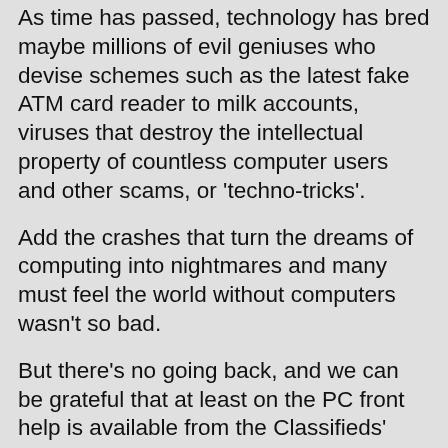As time has passed, technology has bred maybe millions of evil geniuses who devise schemes such as the latest fake ATM card reader to milk accounts, viruses that destroy the intellectual property of countless computer users and other scams, or 'techno-tricks'.
Add the crashes that turn the dreams of computing into nightmares and many must feel the world without computers wasn't so bad.
But there's no going back, and we can be grateful that at least on the PC front help is available from the Classifieds' Computer column, where Jenny and Peter Sharp, of A Class PC Service, Cleveland, are long-time regulars.